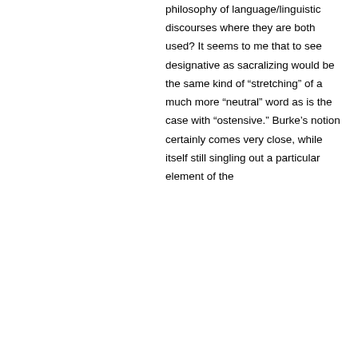philosophy of language/linguistic discourses where they are both used? It seems to me that to see designative as sacralizing would be the same kind of "stretching" of a much more "neutral" word as is the case with "ostensive." Burke's notion certainly comes very close, while itself still singling out a particular element of the